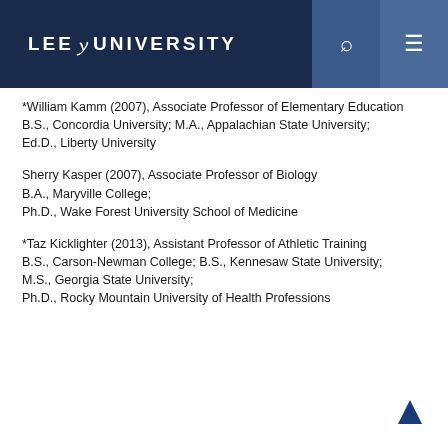LEE UNIVERSITY
*William Kamm (2007), Associate Professor of Elementary Education
B.S., Concordia University; M.A., Appalachian State University;
Ed.D., Liberty University
Sherry Kasper (2007), Associate Professor of Biology
B.A., Maryville College;
Ph.D., Wake Forest University School of Medicine
*Taz Kicklighter (2013), Assistant Professor of Athletic Training
B.S., Carson-Newman College; B.S., Kennesaw State University;
M.S., Georgia State University;
Ph.D., Rocky Mountain University of Health Professions